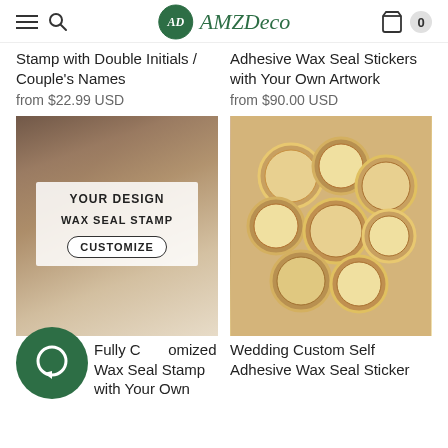AMZDeco navigation header with logo, menu, search, and cart (0 items)
Stamp with Double Initials / Couple's Names
from $22.99 USD
Adhesive Wax Seal Stickers with Your Own Artwork
from $90.00 USD
[Figure (photo): Product image showing wax seal stamp customization with text YOUR DESIGN, WAX SEAL STAMP, and CUSTOMIZE button overlay, with various wax seals and stamps in background]
[Figure (photo): Product image showing a pile of circular gold and beige wedding custom self adhesive wax seal stickers with ornate monogram designs]
Fully Customized Wax Seal Stamp with Your Own
Wedding Custom Self Adhesive Wax Seal Sticker